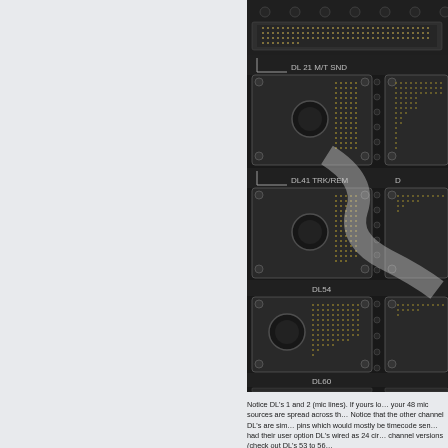[Figure (photo): Close-up photograph of a circuit board backplane showing multiple DL connectors labeled DL21 M/T SND, DL41 TRK/REM, DL54, and DL60. The connectors are rectangular with dense gold pin arrays and are mounted on a dark metal panel. A light-colored cable or overlay is visible across the middle of the image.]
Notice DL's 1 and 2 (mic lines). If yours lo... your 48 mic sources are spread across th... Notice that the other channel DL's are sim... pins which would mostly be timecode sen... had their user option DL's wired as 24 cir... channel versions (check out DL's 53 to 56...